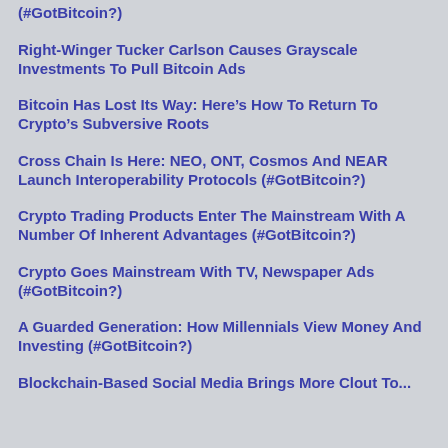(#GotBitcoin?)
Right-Winger Tucker Carlson Causes Grayscale Investments To Pull Bitcoin Ads
Bitcoin Has Lost Its Way: Here’s How To Return To Crypto’s Subversive Roots
Cross Chain Is Here: NEO, ONT, Cosmos And NEAR Launch Interoperability Protocols (#GotBitcoin?)
Crypto Trading Products Enter The Mainstream With A Number Of Inherent Advantages (#GotBitcoin?)
Crypto Goes Mainstream With TV, Newspaper Ads (#GotBitcoin?)
A Guarded Generation: How Millennials View Money And Investing (#GotBitcoin?)
Blockchain-Based Social Media Brings More Clout To...